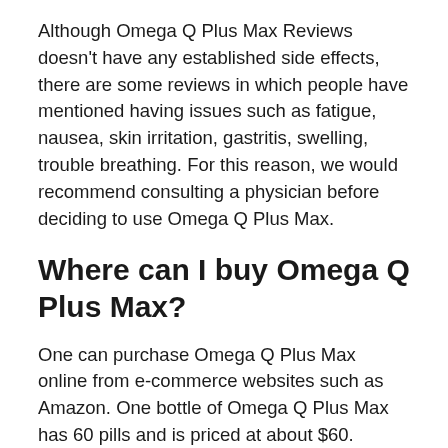Although Omega Q Plus Max Reviews doesn't have any established side effects, there are some reviews in which people have mentioned having issues such as fatigue, nausea, skin irritation, gastritis, swelling, trouble breathing. For this reason, we would recommend consulting a physician before deciding to use Omega Q Plus Max.
Where can I buy Omega Q Plus Max?
One can purchase Omega Q Plus Max online from e-commerce websites such as Amazon. One bottle of Omega Q Plus Max has 60 pills and is priced at about $60.
How to consume Omega Q